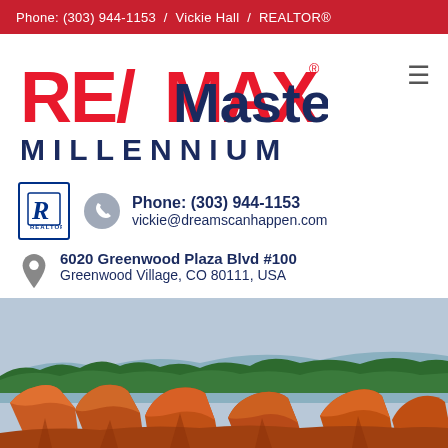Phone: (303) 944-1153  /  Vickie Hall  /  REALTOR®
[Figure (logo): RE/MAX Masters Millennium logo with red and blue text]
≡
[Figure (logo): REALTOR R logo badge in blue border]
Phone: (303) 944-1153
vickie@dreamscanhappen.com
6020 Greenwood Plaza Blvd #100
Greenwood Village, CO 80111, USA
[Figure (photo): Landscape photo of orange/red rock formations with green trees and blue sky]